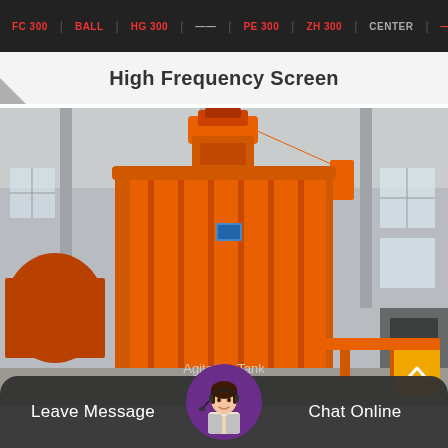High Frequency Screen | navigation bar
High Frequency Screen
[Figure (photo): Large orange industrial agitation tank (mixing tank) with motor/drive unit mounted on top, photographed in a factory/warehouse setting. The cylindrical tank is painted bright orange and occupies most of the image. Industrial equipment and factory interior visible in background.]
Agitation Tank
Leave Message   Chat Online